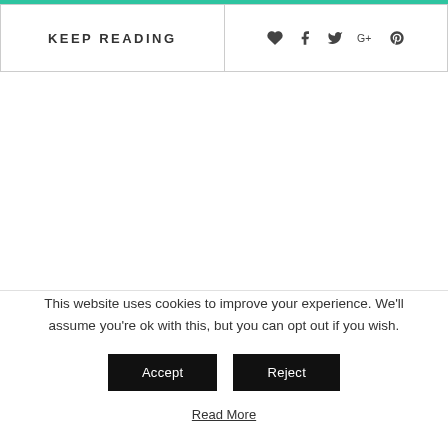KEEP READING
This website uses cookies to improve your experience. We'll assume you're ok with this, but you can opt out if you wish.
Accept | Reject
Read More